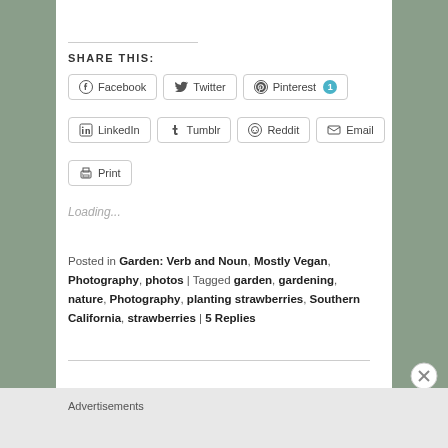SHARE THIS:
Facebook  Twitter  Pinterest 1
LinkedIn  Tumblr  Reddit  Email
Print
Loading...
Posted in Garden: Verb and Noun, Mostly Vegan, Photography, photos | Tagged garden, gardening, nature, Photography, planting strawberries, Southern California, strawberries | 5 Replies
Advertisements